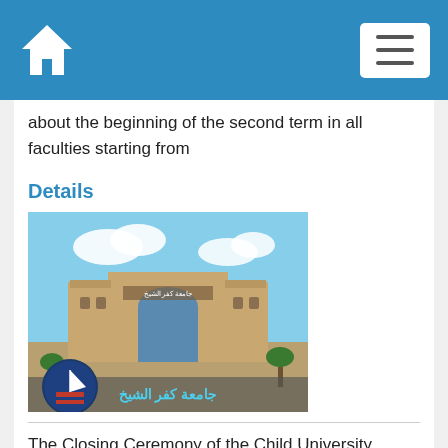Navigation bar with home icon and menu button
about the beginning of the second term in all faculties starting from
Details
[Figure (photo): University entrance gate building - Kafr El-Sheikh University, with Arabic text overlay at the bottom and a circular logo with a sailboat on the lower left]
The Closing Ceremony of the Child University
Date:9/2/2017